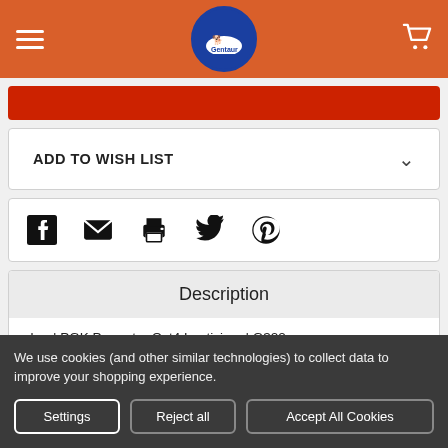Gentaur
ADD TO WISH LIST
[Figure (infographic): Social sharing icons: Facebook, Email, Print, Twitter, Pinterest]
Description
abm | PGK Promoter Oct4 Lentivirus | G322
We use cookies (and other similar technologies) to collect data to improve your shopping experience.
Settings | Reject all | Accept All Cookies